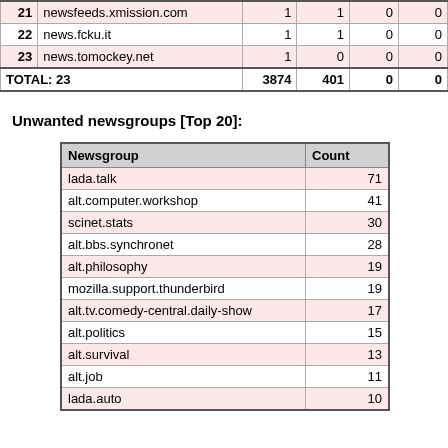| # | Site | Col3 | Col4 | Col5 | Col6 |
| --- | --- | --- | --- | --- | --- |
| 21 | newsfeeds.xmission.com | 1 | 1 | 0 | 0 |
| 22 | news.fcku.it | 1 | 1 | 0 | 0 |
| 23 | news.tomockey.net | 1 | 0 | 0 | 0 |
| TOTAL: 23 |  | 3874 | 401 | 0 | 0 |
Unwanted newsgroups [Top 20]:
| Newsgroup | Count |
| --- | --- |
| lada.talk | 71 |
| alt.computer.workshop | 41 |
| scinet.stats | 30 |
| alt.bbs.synchronet | 28 |
| alt.philosophy | 19 |
| mozilla.support.thunderbird | 19 |
| alt.tv.comedy-central.daily-show | 17 |
| alt.politics | 15 |
| alt.survival | 13 |
| alt.job | 11 |
| lada.auto | 10 |